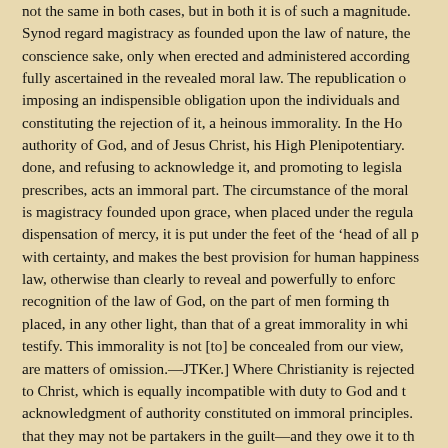not the same in both cases, but in both it is of such a magnitude. Synod regard magistracy as founded upon the law of nature, the conscience sake, only when erected and administered according fully ascertained in the revealed moral law. The republication o imposing an indispensible obligation upon the individuals and constituting the rejection of it, a heinous immorality. In the Ho authority of God, and of Jesus Christ, his High Plenipotentiary. done, and refusing to acknowledge it, and promoting to legisla prescribes, acts an immoral part. The circumstance of the moral is magistracy founded upon grace, when placed under the regula dispensation of mercy, it is put under the feet of the 'head of all p with certainty, and makes the best provision for human happiness law, otherwise than clearly to reveal and powerfully to enforc recognition of the law of God, on the part of men forming th placed, in any other light, than that of a great immorality in whi testify. This immorality is not [to] be concealed from our view, are matters of omission.—JTKer.] Where Christianity is rejected to Christ, which is equally incompatible with duty to God and t acknowledgment of authority constituted on immoral principles. that they may not be partakers in the guilt—and they owe it to th liable to his displeasure. They are thus constrained to make a Christians in our land, who assent most cordially to our general testimony and practical separation, which we have assumed. ordinance of God, we would at once lose our distinctive standin of our fathers, from the time of the first erecting of our Church